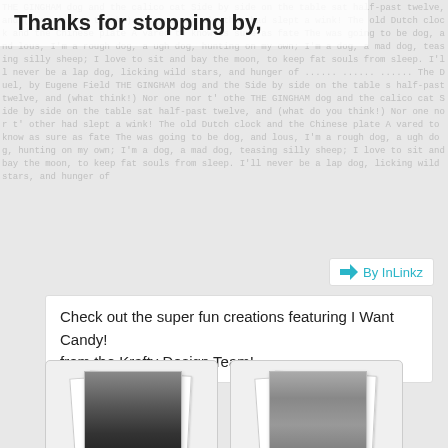Thanks for stopping by,
[Figure (infographic): InLinkz logo button with arrow icon and 'By InLinkz' text in teal]
Check out the super fun creations featuring I Want Candy! from the Krafty Design Team!
[Figure (photo): Polaroid-style photo card of Alexis with teal name badge]
[Figure (photo): Polaroid-style photo card of Sabrina with teal name badge]